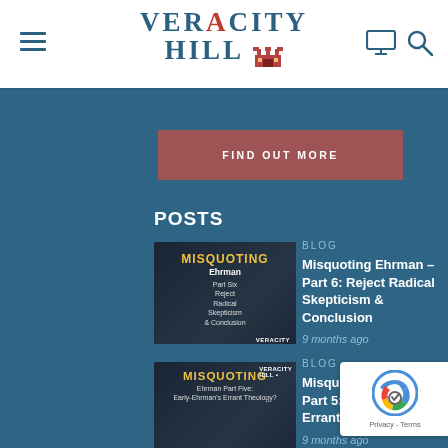Veracity Hill
[Figure (screenshot): Find Out More button — dark rose/mauve colored banner button]
POSTS
[Figure (photo): Thumbnail for blog post: Misquoting Ehrman Part Six: Reject Radical Skepticism & Conclusion — two men shown]
BLOG
Misquoting Ehrman – Part 6: Reject Radical Skepticism & Conclusion
9 months ago
[Figure (photo): Thumbnail for blog post: Misquoting Ehrman Part Five: Early-Ehrman's Errant Theology? — two men shown]
BLOG
Misquoting Ehrman – Part 5: Early-Ehrman's Errant Theology?
9 months ago
BLOG
Misquoting Ehrman – Part 4: Ehrman's Shift